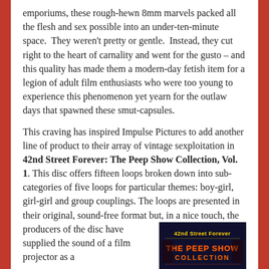emporiums, these rough-hewn 8mm marvels packed all the flesh and sex possible into an under-ten-minute space.  They weren't pretty or gentle.  Instead, they cut right to the heart of carnality and went for the gusto – and this quality has made them a modern-day fetish item for a legion of adult film enthusiasts who were too young to experience this phenomenon yet yearn for the outlaw days that spawned these smut-capsules.
This craving has inspired Impulse Pictures to add another line of product to their array of vintage sexploitation in 42nd Street Forever: The Peep Show Collection, Vol. 1. This disc offers fifteen loops broken down into sub-categories of five loops for particular themes: boy-girl, girl-girl and group couplings. The loops are presented in their original, sound-free format but, in a nice touch, the producers of the disc have supplied the sound of a film projector as a
[Figure (photo): DVD cover art for '42nd Street Forever: The Peep Show Collection' with neon-style text on dark background]